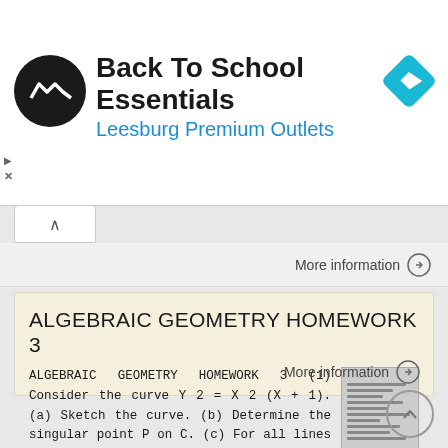[Figure (logo): Back To School Essentials ad banner with circular logo, text, and diamond navigation icon. Leesburg Premium Outlets.]
More information →
ALGEBRAIC GEOMETRY HOMEWORK 3
ALGEBRAIC GEOMETRY HOMEWORK 3 (1) Consider the curve Y 2 = X 2 (X + 1). (a) Sketch the curve. (b) Determine the singular point P on C. (c) For all lines through P, determine the intersection multiplicity
More information →